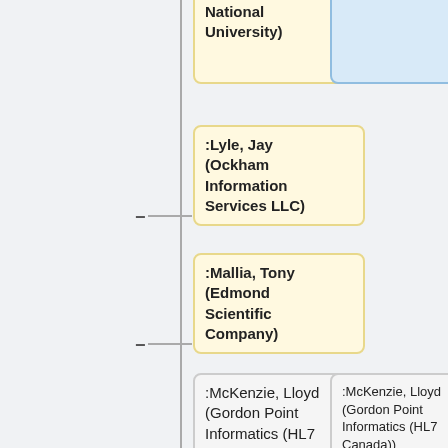[Figure (organizational-chart): Partial organizational chart showing nodes: National University), :Lyle, Jay (Ockham Information Services LLC), :Mallia, Tony (Edmond Scientific Company), :McKenzie, Lloyd (Gordon Point Informatics (HL7 Canada)) (appears twice in two columns), :Parimi, Sailaja (Cerner Corporation) (appears twice in two columns), :Reppen, Bertil (Apertura), :Parker, Craig (Intermountain Healthcare). Nodes are connected by horizontal and vertical lines with + and - symbols indicating expand/collapse controls.]